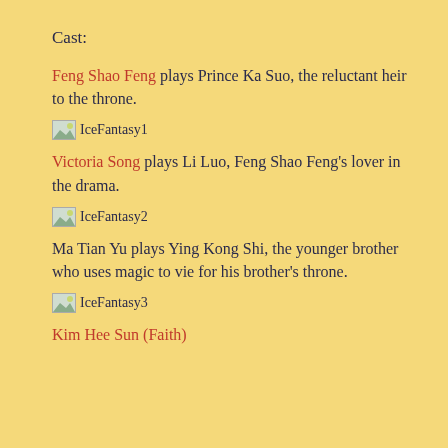Cast:
Feng Shao Feng plays Prince Ka Suo, the reluctant heir to the throne.
[Figure (illustration): Placeholder image labeled IceFantasy1]
Victoria Song plays Li Luo, Feng Shao Feng's lover in the drama.
[Figure (illustration): Placeholder image labeled IceFantasy2]
Ma Tian Yu plays Ying Kong Shi, the younger brother who uses magic to vie for his brother's throne.
[Figure (illustration): Placeholder image labeled IceFantasy3]
Kim Hee Sun (Faith)